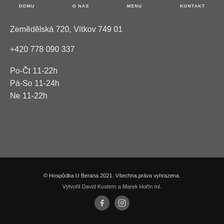DOMU   O NAS   MENU   KONTAKT
Zemědělská 720, Vítkov 749 01
+420 778 090 337
Po-Čt 11-22h
Pá-So 11-24h
Ne 11-22h
© Hospůdka U Berana 2021. Všechna práva vyhrazena.
Vytvořil David Kostern a Marek Hořín ml.